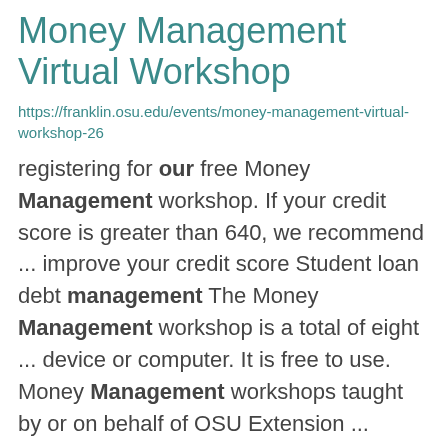Money Management Virtual Workshop
https://franklin.osu.edu/events/money-management-virtual-workshop-26
registering for our free Money Management workshop. If your credit score is greater than 640, we recommend ... improve your credit score Student loan debt management The Money Management workshop is a total of eight ... device or computer. It is free to use. Money Management workshops taught by or on behalf of OSU Extension ...
The OSU & CFAES Identity